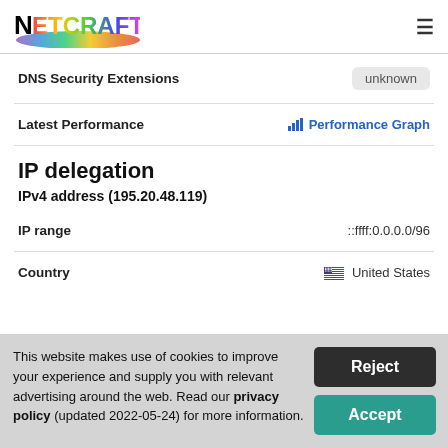Netcraft
| Field | Value |
| --- | --- |
| DNS Security Extensions | unknown |
| Latest Performance | Performance Graph |
IP delegation
IPv4 address (195.20.48.119)
| Field | Value |
| --- | --- |
| IP range | ::ffff:0.0.0.0/96 |
| Country | United States |
This website makes use of cookies to improve your experience and supply you with relevant advertising around the web. Read our privacy policy (updated 2022-05-24) for more information.